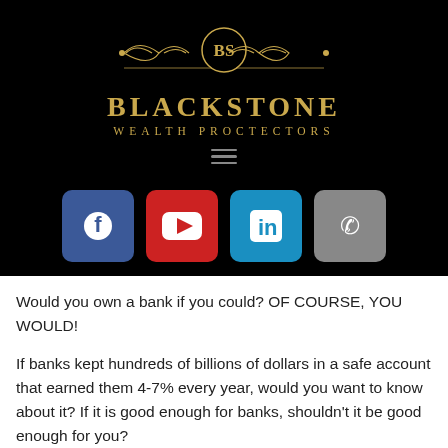[Figure (logo): Blackstone Wealth Proctectors logo with ornate gold design, 'BS' monogram in circle, and decorative flourishes on black background]
Would you own a bank if you could? OF COURSE, YOU WOULD!
If banks kept hundreds of billions of dollars in a safe account that earned them 4-7% every year, would you want to know about it? If it is good enough for banks, shouldn't it be good enough for you?
Bankers think differently than